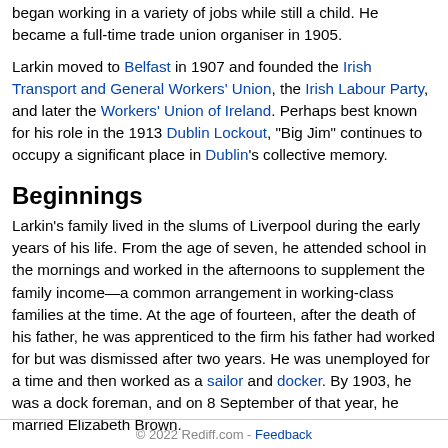began working in a variety of jobs while still a child. He became a full-time trade union organiser in 1905.
Larkin moved to Belfast in 1907 and founded the Irish Transport and General Workers' Union, the Irish Labour Party, and later the Workers' Union of Ireland. Perhaps best known for his role in the 1913 Dublin Lockout, "Big Jim" continues to occupy a significant place in Dublin's collective memory.
Beginnings
Larkin's family lived in the slums of Liverpool during the early years of his life. From the age of seven, he attended school in the mornings and worked in the afternoons to supplement the family income—a common arrangement in working-class families at the time. At the age of fourteen, after the death of his father, he was apprenticed to the firm his father had worked for but was dismissed after two years. He was unemployed for a time and then worked as a sailor and docker. By 1903, he was a dock foreman, and on 8 September of that year, he married Elizabeth Brown.
From 1893, Larkin developed an interest in socialism and became a member of the Independent Labour Party. In 1905, he was one of the few foremen to take part in a strike on the Liverpool...
Read More
© 2022 Rediff.com - Feedback